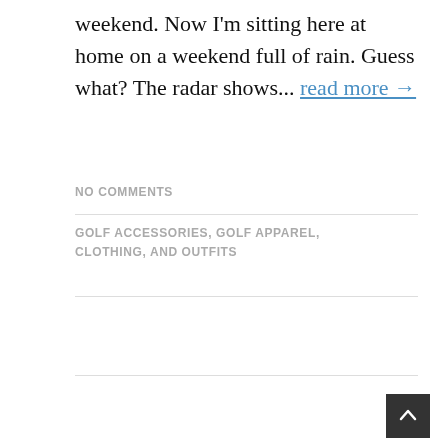weekend. Now I'm sitting here at home on a weekend full of rain. Guess what? The radar shows... read more →
NO COMMENTS
GOLF ACCESSORIES, GOLF APPAREL, CLOTHING, AND OUTFITS